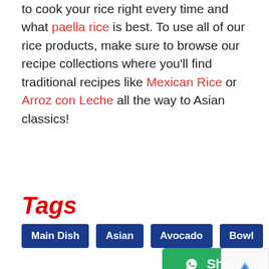to cook your rice right every time and what paella rice is best. To use all of our rice products, make sure to browse our recipe collections where you'll find traditional recipes like Mexican Rice or Arroz con Leche all the way to Asian classics!
Tags
Main Dish
Asian
Avocado
Bowl
[Figure (other): Green Share button with WhatsApp icon]